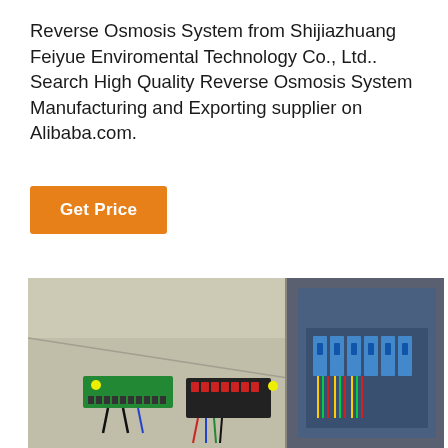Reverse Osmosis System from Shijiazhuang Feiyue Enviromental Technology Co., Ltd.. Search High Quality Reverse Osmosis System Manufacturing and Exporting supplier on Alibaba.com.
Get Price
[Figure (photo): Photo of an electrical control cabinet interior showing terminal blocks, circuit breakers, and wiring inside an industrial enclosure for a reverse osmosis system.]